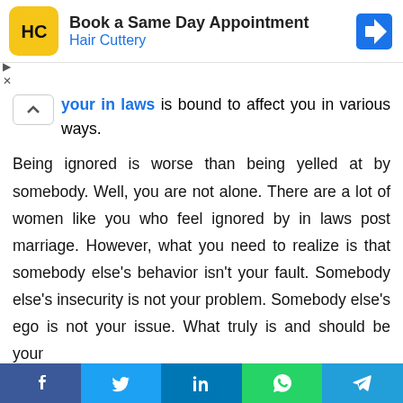[Figure (screenshot): Hair Cuttery advertisement banner: logo (HC in yellow circle), text 'Book a Same Day Appointment / Hair Cuttery', navigation arrow icon]
your in laws is bound to affect you in various ways.
Being ignored is worse than being yelled at by somebody. Well, you are not alone. There are a lot of women like you who feel ignored by in laws post marriage. However, what you need to realize is that somebody else's behavior isn't your fault. Somebody else's insecurity is not your problem. Somebody else's ego is not your issue. What truly is and should be your is how you take it? How do you deal with it?
[Figure (screenshot): Social sharing bar with Facebook, Twitter, LinkedIn, WhatsApp, Telegram buttons]